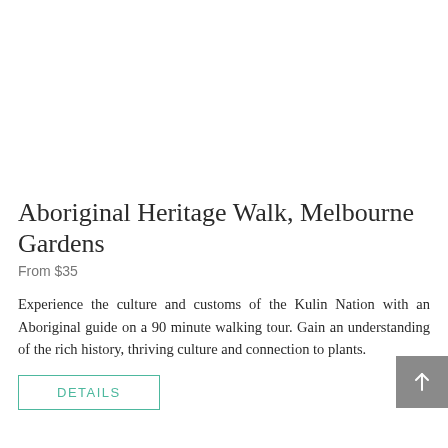[Figure (photo): Placeholder white area where a photo would appear at the top of the page]
Aboriginal Heritage Walk, Melbourne Gardens
From $35
Experience the culture and customs of the Kulin Nation with an Aboriginal guide on a 90 minute walking tour. Gain an understanding of the rich history, thriving culture and connection to plants.
DETAILS